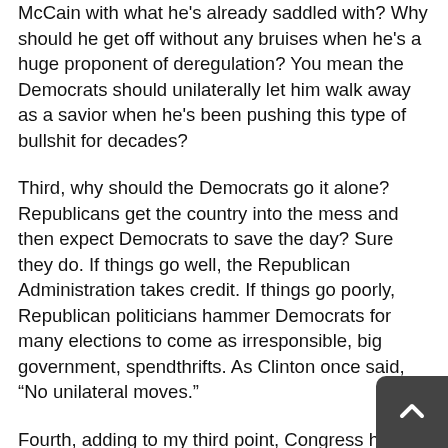McCain with what he's already saddled with? Why should he get off without any bruises when he's a huge proponent of deregulation? You mean the Democrats should unilaterally let him walk away as a savior when he's been pushing this type of bullshit for decades?
Third, why should the Democrats go it alone? Republicans get the country into the mess and then expect Democrats to save the day? Sure they do. If things go well, the Republican Administration takes credit. If things go poorly, Republican politicians hammer Democrats for many elections to come as irresponsible, big government, spendthrifts. As Clinton once said, "No unilateral moves."
Fourth, adding to my third point, Congress has a majority of Democrats, but it's only 30 or so votes. If 30 congresspeople feel that their re-election will be jeopardized by the guilty Republicans in the way I suggest in my third point, they will be hesitant to vote for the deal. Why should the Democrats commit hara kiri over Republican ideology?